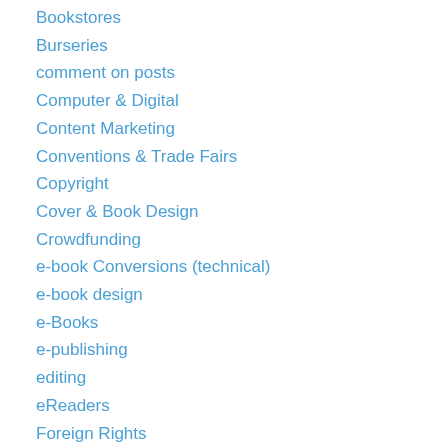Bookstores
Burseries
comment on posts
Computer & Digital
Content Marketing
Conventions & Trade Fairs
Copyright
Cover & Book Design
Crowdfunding
e-book Conversions (technical)
e-book design
e-Books
e-publishing
editing
eReaders
Foreign Rights
Free Books Amazon
Freelance Writing
googling social
Grants